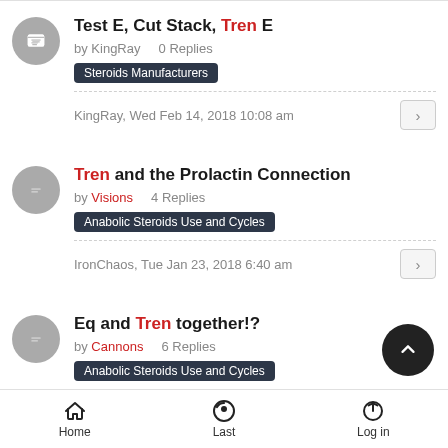Test E, Cut Stack, Tren E — by KingRay, 0 Replies, Steroids Manufacturers — KingRay, Wed Feb 14, 2018 10:08 am
Tren and the Prolactin Connection — by Visions, 4 Replies, Anabolic Steroids Use and Cycles — IronChaos, Tue Jan 23, 2018 6:40 am
Eq and Tren together!? — by Cannons, 6 Replies, Anabolic Steroids Use and Cycles
Home   Last   Log in